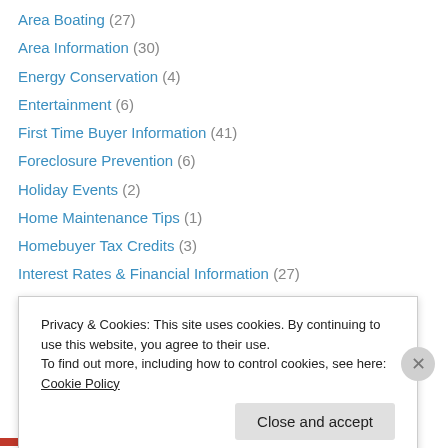Area Boating (27)
Area Information (30)
Energy Conservation (4)
Entertainment (6)
First Time Buyer Information (41)
Foreclosure Prevention (6)
Holiday Events (2)
Home Maintenance Tips (1)
Homebuyer Tax Credits (3)
Interest Rates & Financial Information (27)
It is NOT about Real Estate :0) (84)
Lake Front Homes (1)
Life in Honduras (15)
Local Points of Interest (14)
Privacy & Cookies: This site uses cookies. By continuing to use this website, you agree to their use. To find out more, including how to control cookies, see here: Cookie Policy
Close and accept